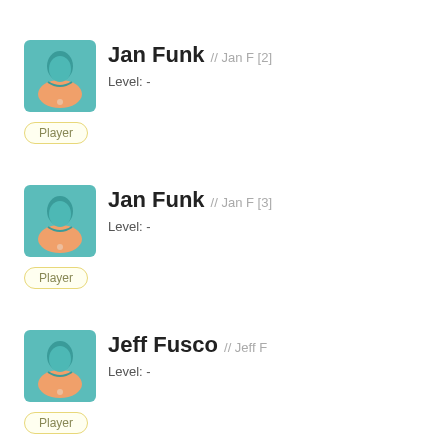[Figure (illustration): Avatar icon of a player with teal head and orange shirt]
Jan Funk // Jan F [2]
Level: -
Player
[Figure (illustration): Avatar icon of a player with teal head and orange shirt]
Jan Funk // Jan F [3]
Level: -
Player
[Figure (illustration): Avatar icon of a player with teal head and orange shirt]
Jeff Fusco // Jeff F
Level: -
Player